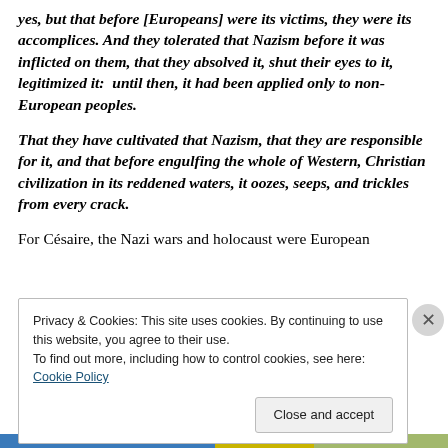yes, but that before [Europeans] were its victims, they were its accomplices. And they tolerated that Nazism before it was inflicted on them, that they absolved it, shut their eyes to it, legitimized it: until then, it had been applied only to non-European peoples.
That they have cultivated that Nazism, that they are responsible for it, and that before engulfing the whole of Western, Christian civilization in its reddened waters, it oozes, seeps, and trickles from every crack.
For Césaire, the Nazi wars and holocaust were European
[Figure (screenshot): Cookie consent banner with text: 'Privacy & Cookies: This site uses cookies. By continuing to use this website, you agree to their use. To find out more, including how to control cookies, see here: Cookie Policy' and a 'Close and accept' button. A close (X) button appears to the right.]